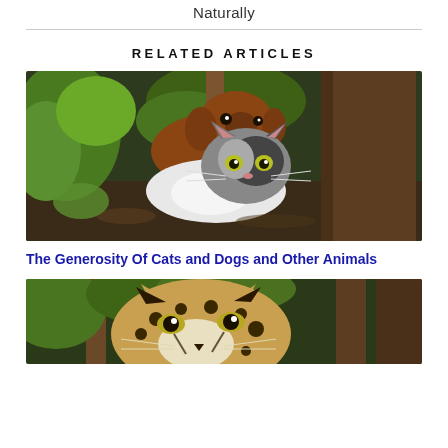Naturally
RELATED ARTICLES
[Figure (photo): A brown dog and a black-and-white cat resting together among trees and foliage outdoors]
The Generosity Of Cats and Dogs and Other Animals
[Figure (photo): Close-up of a cheetah face with green foliage and tree trunks in the background]